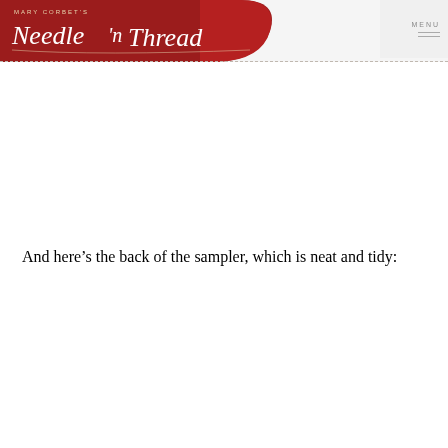MARY CORBET'S Needle n Thread | MENU
And here’s the back of the sampler, which is neat and tidy: